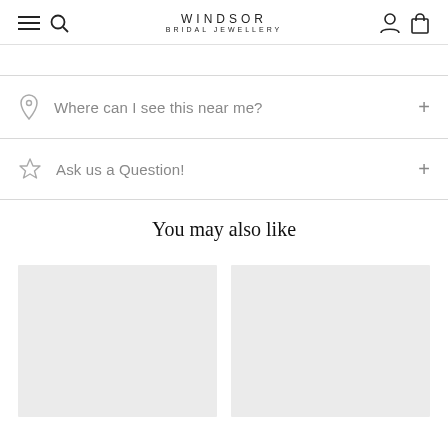WINDSOR BRIDAL JEWELLERY
Where can I see this near me?
Ask us a Question!
You may also like
[Figure (photo): Two placeholder product image cards side by side]
[Figure (photo): Second placeholder product image card]